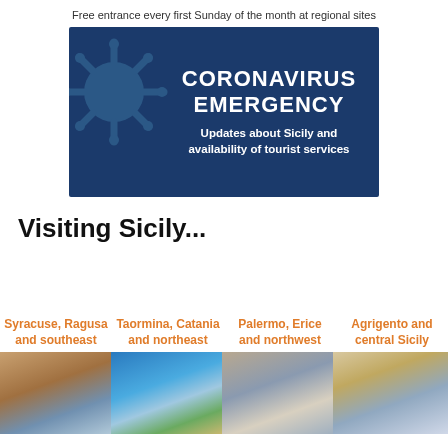Free entrance every first Sunday of the month at regional sites
[Figure (infographic): Coronavirus Emergency banner with dark blue background, virus graphic on left, bold white text reading CORONAVIRUS EMERGENCY, and subtitle Updates about Sicily and availability of tourist services]
Visiting Sicily...
Syracuse, Ragusa and southeast
Taormina, Catania and northeast
Palermo, Erice and northwest
Agrigento and central Sicily
[Figure (photo): Photo of Syracuse/Ragusa area]
[Figure (photo): Photo of Taormina/Catania area showing coastline]
[Figure (photo): Photo of Palermo area]
[Figure (photo): Photo of Agrigento area with ancient ruins]